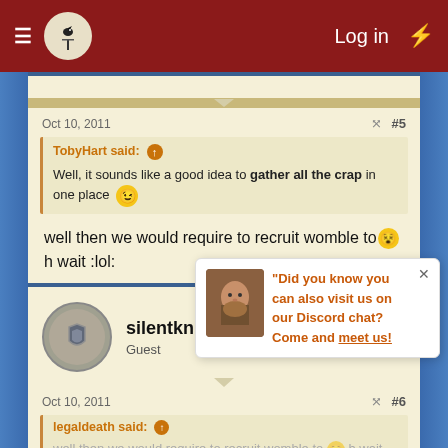Log in
Oct 10, 2011  #5
TobyHart said: ↑  Well, it sounds like a good idea to gather all the crap in one place 😉
well then we would require to recruit womble to 😵 h wait :lol:
silentknight2006  Guest
Oct 10, 2011  #6
legaldeath said:
well then we would require to recruit womble to 😵 h wait :lol:
"Did you know you can also visit us on our Discord chat? Come and meet us!"